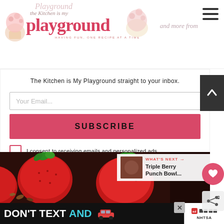[Figure (logo): The Kitchen is My Playground blog logo with pink 'playground' text and cupcake decorations]
and more from
The Kitchen is My Playground straight to your inbox.
Your Email...
SUBSCRIBE
I consent to receiving emails and personalized ads.
[Figure (photo): Close-up photo of fresh red strawberries]
WHAT'S NEXT → Triple Berry Punch Bowl...
[Figure (infographic): DON'T TEXT AND [drive] advertisement banner from NHTSA with red car graphic]